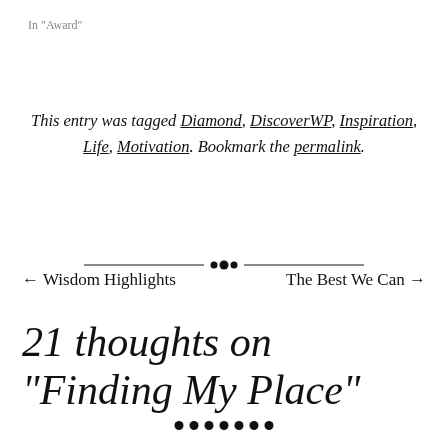In "Award"
This entry was tagged Diamond, DiscoverWP, Inspiration, Life, Motivation. Bookmark the permalink.
[Figure (illustration): Decorative horizontal divider with ornamental dots in the center and lines on each side]
← Wisdom Highlights    The Best We Can →
21 thoughts on “Finding My Place”
[Figure (illustration): Row of seven black dots as a decorative separator]